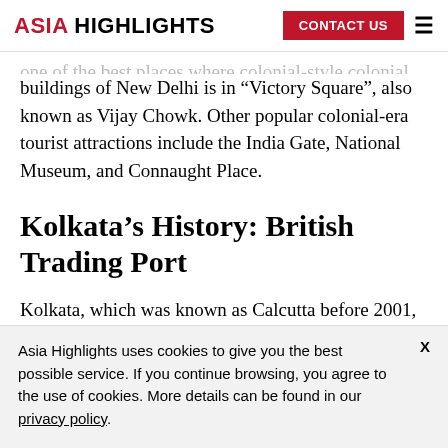ASIA HIGHLIGHTS | CONTACT US
buildings of New Delhi is in “Victory Square”, also known as Vijay Chowk. Other popular colonial-era tourist attractions include the India Gate, National Museum, and Connaught Place.
Kolkata’s History: British Trading Port
Kolkata, which was known as Calcutta before 2001,
Asia Highlights uses cookies to give you the best possible service. If you continue browsing, you agree to the use of cookies. More details can be found in our privacy policy.